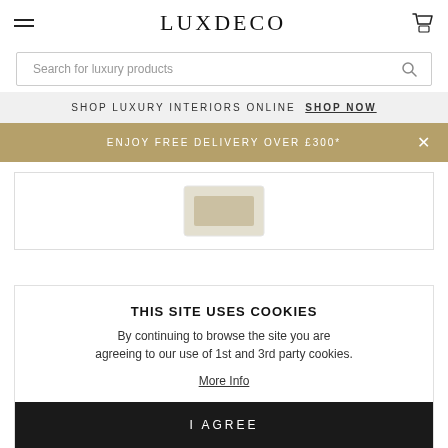LUXDECO
Search for luxury products
SHOP LUXURY INTERIORS ONLINE SHOP NOW
ENJOY FREE DELIVERY OVER £300*
[Figure (screenshot): Partial product image visible in a white bordered box]
THIS SITE USES COOKIES
By continuing to browse the site you are agreeing to our use of 1st and 3rd party cookies.
More Info
I AGREE